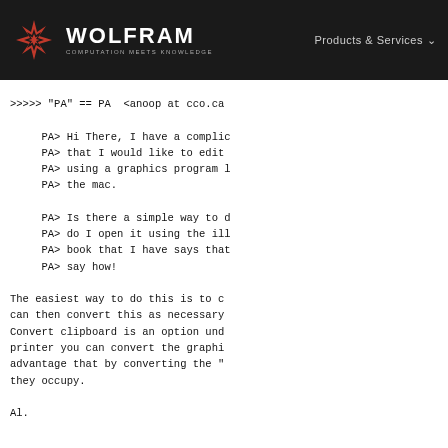WOLFRAM COMPUTATION MEETS KNOWLEDGE | Products & Services
>>>>> "PA" == PA  <anoop at cco.ca

     PA> Hi There, I have a complic
     PA> that I would like to edit
     PA> using a graphics program l
     PA> the mac.

     PA> Is there a simple way to d
     PA> do I open it using the ill
     PA> book that I have says that
     PA> say how!

The easiest way to do this is to c
can then convert this as necessary
Convert clipboard is an option und
printer you can convert the graphi
advantage that by converting the "
they occupy.

Al.